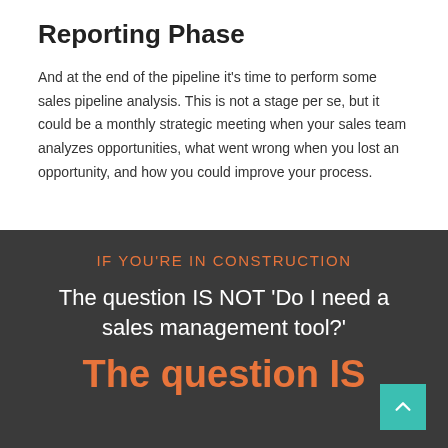Reporting Phase
And at the end of the pipeline it's time to perform some sales pipeline analysis. This is not a stage per se, but it could be a monthly strategic meeting when your sales team analyzes opportunities, what went wrong when you lost an opportunity, and how you could improve your process.
[Figure (infographic): Dark grey banner with orange uppercase text 'IF YOU'RE IN CONSTRUCTION', white text 'The question IS NOT ‘Do I need a sales management tool?’', and large orange bold text 'The question IS' at the bottom. Teal scroll-to-top button in lower right.]